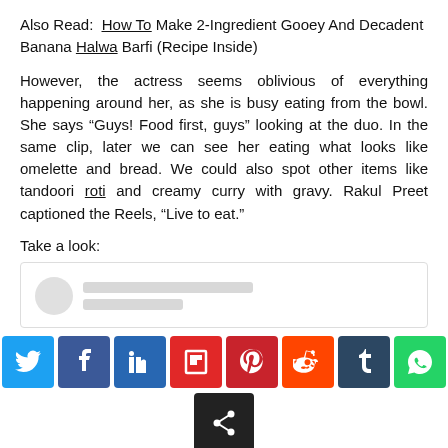Also Read:  How To Make 2-Ingredient Gooey And Decadent Banana Halwa Barfi (Recipe Inside)
However, the actress seems oblivious of everything happening around her, as she is busy eating from the bowl. She says “Guys! Food first, guys” looking at the duo. In the same clip, later we can see her eating what looks like omelette and bread. We could also spot other items like tandoori roti and creamy curry with gravy. Rakul Preet captioned the Reels, “Live to eat.”
Take a look:
[Figure (screenshot): Embedded social media post placeholder with avatar circle and grey loading lines]
[Figure (infographic): Social media share buttons row: Twitter (blue), Facebook (dark blue), LinkedIn (blue), Flipboard (red), Pinterest (red), Reddit (orange), Tumblr (dark), WhatsApp (green), and a share button below]